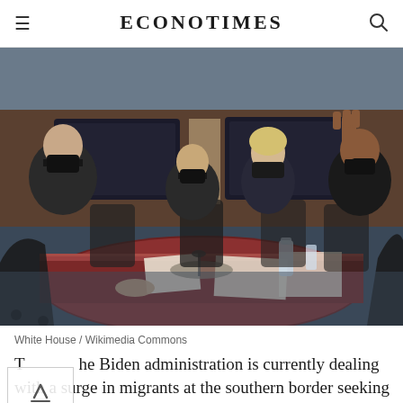EconoTimes
[Figure (photo): Meeting room scene with four people wearing black masks seated around a large wooden conference table. One woman on the right has her hand raised. Papers and water bottles are on the table. The setting appears to be a government or official meeting room.]
White House / Wikimedia Commons
The Biden administration is currently dealing with a surge in migrants at the southern border seeking to cross to the